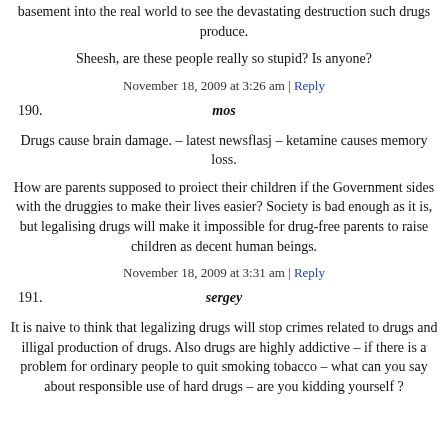basement into the real world to see the devastating destruction such drugs produce.
Sheesh, are these people really so stupid? Is anyone?
November 18, 2009 at 3:26 am | Reply
190. mos
Drugs cause brain damage. – latest newsflasj – ketamine causes memory loss.
How are parents supposed to proiect their children if the Government sides with the druggies to make their lives easier? Society is bad enough as it is, but legalising drugs will make it impossible for drug-free parents to raise children as decent human beings.
November 18, 2009 at 3:31 am | Reply
191. sergey
It is naive to think that legalizing drugs will stop crimes related to drugs and illigal production of drugs. Also drugs are highly addictive – if there is a problem for ordinary people to quit smoking tobacco – what can you say about responsible use of hard drugs – are you kidding yourself ?